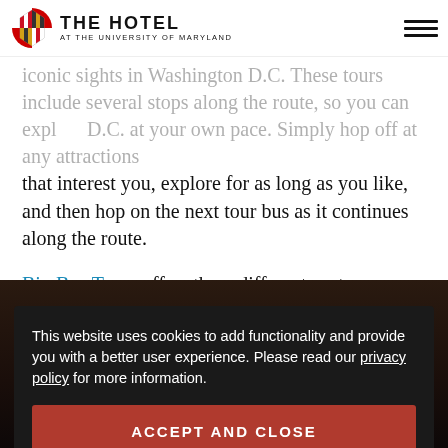THE HOTEL AT THE UNIVERSITY OF MARYLAND
iconic sights in Washington D.C. These tours include several stops along the route, so you can explore D.C. at your own pace. Simply hop off at any attractions that interest you, explore for as long as you like, and then hop on the next tour bus as it continues along the route.
Big Bus Tours offers three different routes, including a night tour that travels through the district offering views of the most famous monuments, which are illuminated during the evening hours.
This website uses cookies to add functionality and provide you with a better user experience. Please read our privacy policy for more information.
ACCEPT AND CLOSE